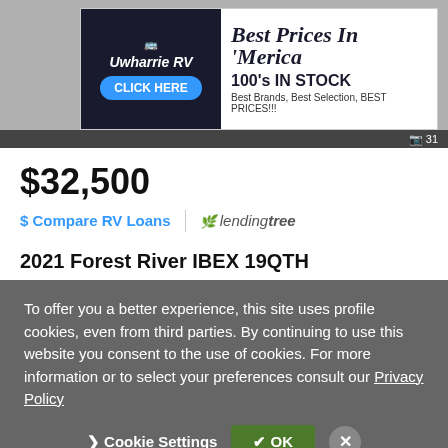[Figure (screenshot): Advertisement banner for Uwharrie RV: 'Best Prices In Merica', '100's IN STOCK', 'Best Brands, Best Selection, BEST PRICES!!!', with CLICK HERE button and photo count indicator showing 31 photos]
$32,500
$ Compare RV Loans | lendingtree
2021 Forest River IBEX 19QTH
Private Seller
Castle Rock, CO - 1,458 mi. away
✉ Email
Feedback
To offer you a better experience, this site uses profile cookies, even from third parties. By continuing to use this website you consent to the use of cookies. For more information or to select your preferences consult our Privacy Policy
❯ Cookie Settings  ✓ OK  ✕